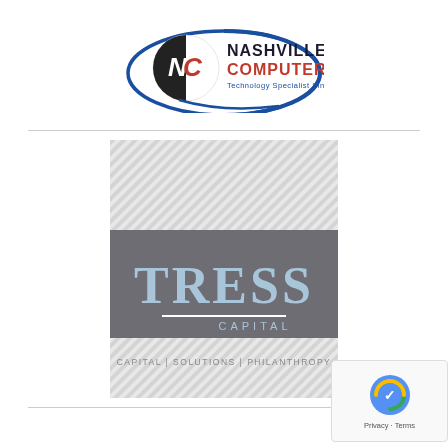[Figure (logo): Nashville Computer logo - NC monogram with blue swoosh, 'NASHVILLE COMPUTER Technology Specialist Since 1988' text in red and blue]
[Figure (logo): Tress Capital logo on grey background with light blue 'TRESS' text, white horizontal line, 'CAPITAL' text, and diagonal stripe pattern in upper and lower sections with tagline 'CAPITAL | SOLUTIONS | PHILANTHROPY']